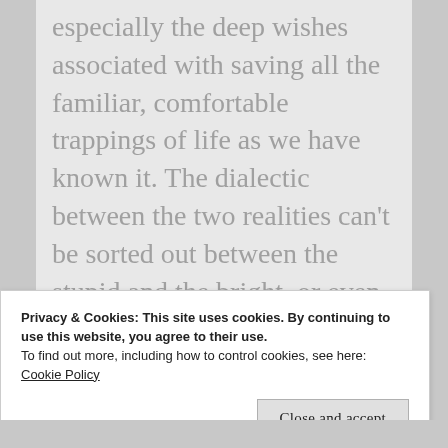especially the deep wishes associated with saving all the familiar, comfortable trappings of life as we have known it. The dialectic between the two realities can't be sorted out between the stupid and the bright, or even the altruistic and the selfish. The various tech industries are full of MIT-
Privacy & Cookies: This site uses cookies. By continuing to use this website, you agree to their use. To find out more, including how to control cookies, see here: Cookie Policy
Close and accept